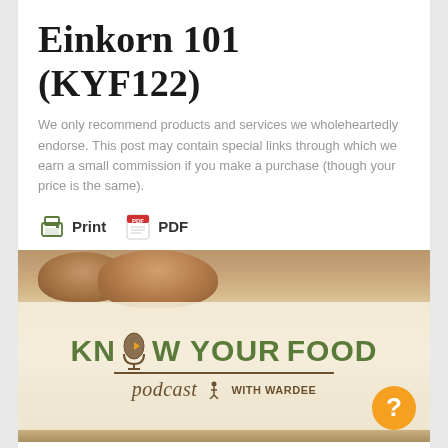Einkorn 101 (KYF122)
We only recommend products and services we wholeheartedly endorse. This post may contain special links through which we earn a small commission if you make a purchase (though your price is the same).
[Figure (other): Print and PDF buttons with icons]
[Figure (photo): Know Your Food podcast logo with Wardee on a bread background, with an orange help button in the bottom right corner]